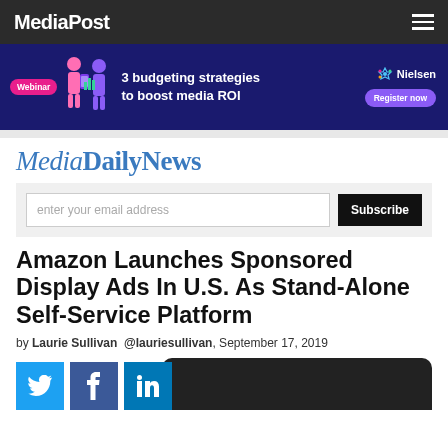MediaPost
[Figure (infographic): Nielsen advertisement banner: Webinar - 3 budgeting strategies to boost media ROI - Register now]
MediaDailyNews
enter your email address  Subscribe
Amazon Launches Sponsored Display Ads In U.S. As Stand-Alone Self-Service Platform
by Laurie Sullivan @lauriesullivan, September 17, 2019